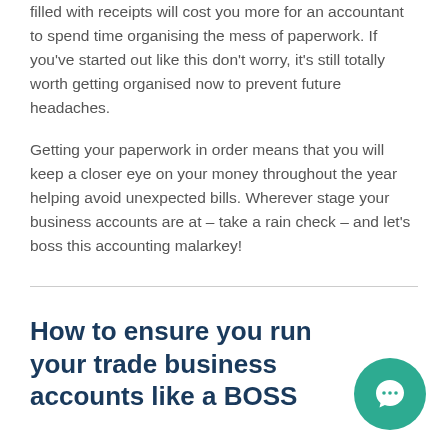filled with receipts will cost you more for an accountant to spend time organising the mess of paperwork. If you've started out like this don't worry, it's still totally worth getting organised now to prevent future headaches.
Getting your paperwork in order means that you will keep a closer eye on your money throughout the year helping avoid unexpected bills. Wherever stage your business accounts are at – take a rain check – and let's boss this accounting malarkey!
How to ensure you run your trade business accounts like a BOSS